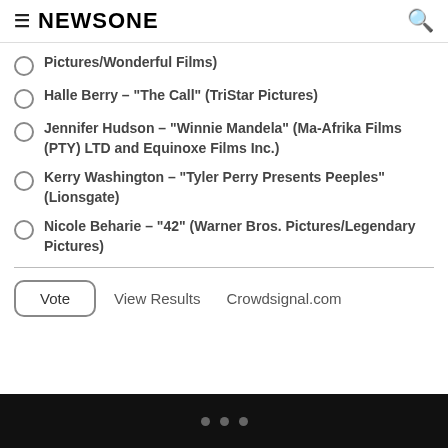NEWSONE
Pictures/Wonderful Films)
Halle Berry – "The Call" (TriStar Pictures)
Jennifer Hudson – "Winnie Mandela" (Ma-Afrika Films (PTY) LTD and Equinoxe Films Inc.)
Kerry Washington – "Tyler Perry Presents Peeples" (Lionsgate)
Nicole Beharie – "42" (Warner Bros. Pictures/Legendary Pictures)